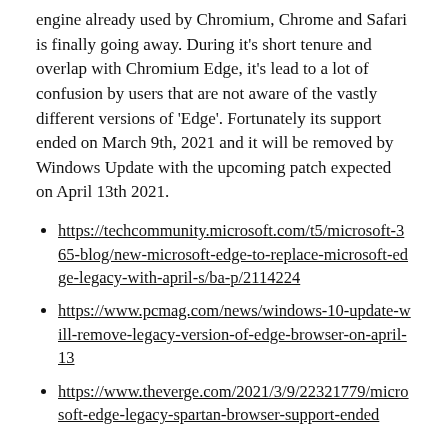engine already used by Chromium, Chrome and Safari is finally going away. During it's short tenure and overlap with Chromium Edge, it's lead to a lot of confusion by users that are not aware of the vastly different versions of 'Edge'. Fortunately its support ended on March 9th, 2021 and it will be removed by Windows Update with the upcoming patch expected on April 13th 2021.
https://techcommunity.microsoft.com/t5/microsoft-365-blog/new-microsoft-edge-to-replace-microsoft-edge-legacy-with-april-s/ba-p/2114224
https://www.pcmag.com/news/windows-10-update-will-remove-legacy-version-of-edge-browser-on-april-13
https://www.theverge.com/2021/3/9/22321779/microsoft-edge-legacy-spartan-browser-support-ended